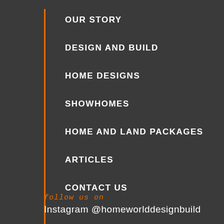OUR STORY
DESIGN AND BUILD
HOME DESIGNS
SHOWHOMES
HOME AND LAND PACKAGES
ARTICLES
CONTACT US
follow us on
Instagram @homeworlddesignbuild